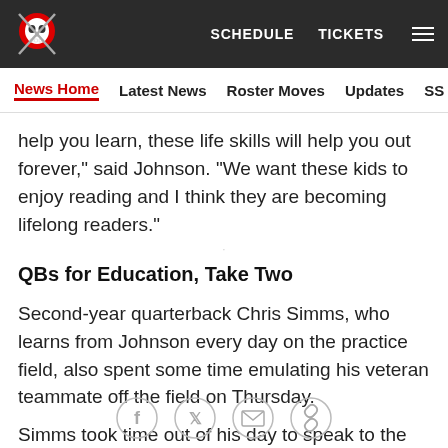SCHEDULE  TICKETS  ☰
News Home  Latest News  Roster Moves  Updates  SS Mailbag
help you learn, these life skills will help you out forever," said Johnson. "We want these kids to enjoy reading and I think they are becoming lifelong readers."
QBs for Education, Take Two
Second-year quarterback Chris Simms, who learns from Johnson every day on the practice field, also spent some time emulating his veteran teammate off the field on Thursday.
Simms took time out of his day to speak to the students